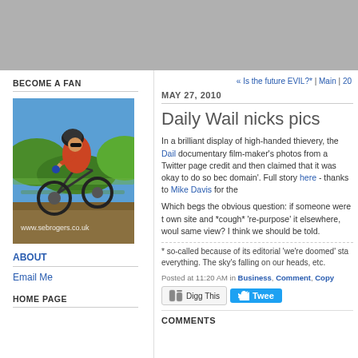[Figure (photo): Gray website header banner]
BECOME A FAN
[Figure (photo): Mountain biker doing dramatic downhill action shot with www.sebrogers.co.uk watermark]
ABOUT
Email Me
HOME PAGE
« Is the future EVIL?* | Main | 20
MAY 27, 2010
Daily Wail nicks pics
In a brilliant display of high-handed thievery, the Dail documentary film-maker's photos from a Twitter page credit and then claimed that it was okay to do so bec domain'. Full story here - thanks to Mike Davis for the
Which begs the obvious question: if someone were t own site and *cough* 're-purpose' it elsewhere, woul same view? I think we should be told.
* so-called because of its editorial 'we're doomed' sta everything. The sky's falling on our heads, etc.
Posted at 11:20 AM in Business, Comment, Copy
Digg This
Tweet
COMMENTS